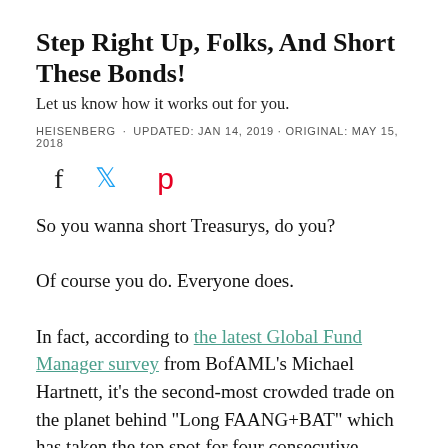Step Right Up, Folks, And Short These Bonds!
Let us know how it works out for you.
HEISENBERG · UPDATED: JAN 14, 2019 · ORIGINAL: MAY 15, 2018
[Figure (other): Social share icons: Facebook (f), Twitter (bird), Pinterest (p)]
So you wanna short Treasurys, do you?
Of course you do. Everyone does.
In fact, according to the latest Global Fund Manager survey from BofAML's Michael Hartnett, it's the second-most crowded trade on the planet behind "Long FAANG+BAT" which has taken the top spot for four consecutive months as people continue to "buy the